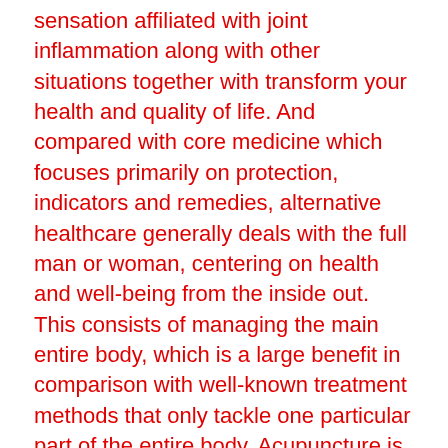sensation affiliated with joint inflammation along with other situations together with transform your health and quality of life. And compared with core medicine which focuses primarily on protection, indicators and remedies, alternative healthcare generally deals with the full man or woman, centering on health and well-being from the inside out. This consists of managing the main entire body, which is a large benefit in comparison with well-known treatment methods that only tackle one particular part of the entire body. Acupuncture is among the number of popular choice treatments who have confirmed usefulness for treating several different health issues.
Practicing chinese medicine is absolutely not new. It has been employed for centuries in Chinese traditions, while it was adopted by Westerners only in the last century. In the us, substitute prescription drugs like acupuncture,